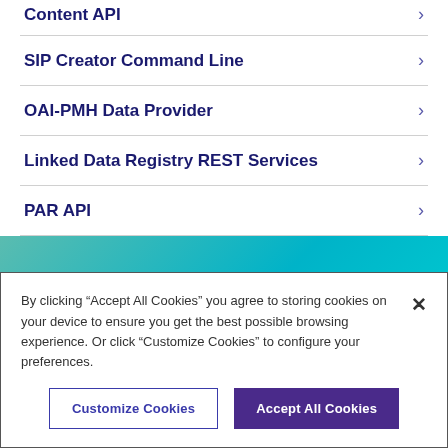Content API
SIP Creator Command Line
OAI-PMH Data Provider
Linked Data Registry REST Services
PAR API
[Figure (other): Teal to cyan gradient decorative band]
By clicking “Accept All Cookies” you agree to storing cookies on your device to ensure you get the best possible browsing experience. Or click “Customize Cookies” to configure your preferences.